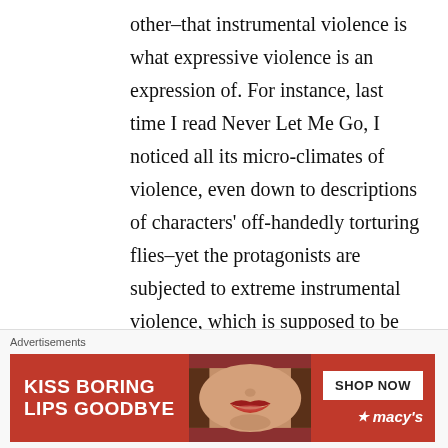other–that instrumental violence is what expressive violence is an expression of. For instance, last time I read Never Let Me Go, I noticed all its micro-climates of violence, even down to descriptions of characters' off-handedly torturing flies–yet the protagonists are subjected to extreme instrumental violence, which is supposed to be supplemented–rendered radically non-expressive–by the notion
[Figure (photo): Advertisement banner for Macy's lipstick featuring text 'KISS BORING LIPS GOODBYE', a close-up photo of a woman's face focusing on lips with red lipstick, and a 'SHOP NOW' button with Macy's logo]